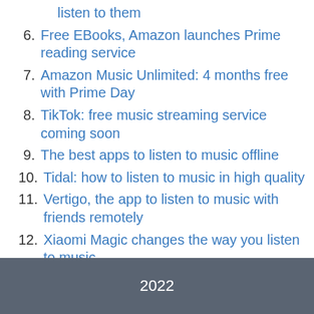listen to them
Free EBooks, Amazon launches Prime reading service
Amazon Music Unlimited: 4 months free with Prime Day
TikTok: free music streaming service coming soon
The best apps to listen to music offline
Tidal: how to listen to music in high quality
Vertigo, the app to listen to music with friends remotely
Xiaomi Magic changes the way you listen to music
2022